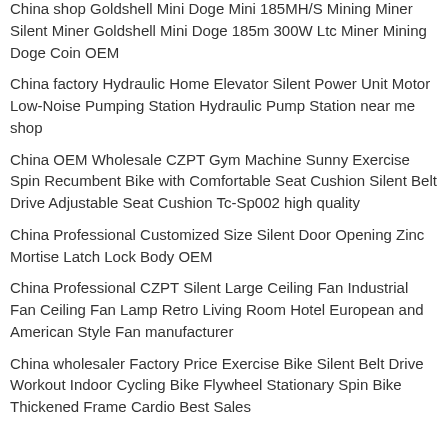China shop Goldshell Mini Doge Mini 185MH/S Mining Miner Silent Miner Goldshell Mini Doge 185m 300W Ltc Miner Mining Doge Coin OEM
China factory Hydraulic Home Elevator Silent Power Unit Motor Low-Noise Pumping Station Hydraulic Pump Station near me shop
China OEM Wholesale CZPT Gym Machine Sunny Exercise Spin Recumbent Bike with Comfortable Seat Cushion Silent Belt Drive Adjustable Seat Cushion Tc-Sp002 high quality
China Professional Customized Size Silent Door Opening Zinc Mortise Latch Lock Body OEM
China Professional CZPT Silent Large Ceiling Fan Industrial Fan Ceiling Fan Lamp Retro Living Room Hotel European and American Style Fan manufacturer
China wholesaler Factory Price Exercise Bike Silent Belt Drive Workout Indoor Cycling Bike Flywheel Stationary Spin Bike Thickened Frame Cardio Best Sales